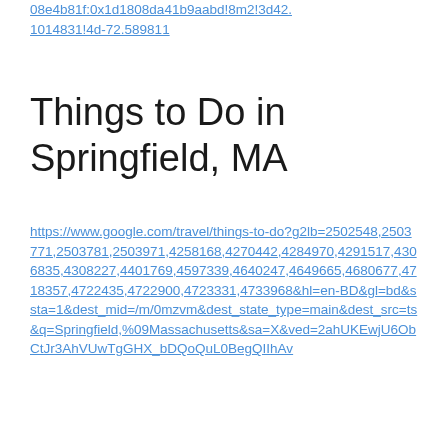08e4b81f:0x1d1808da41b9aabd!8m2!3d42.1014831!4d-72.589811
Things to Do in Springfield, MA
https://www.google.com/travel/things-to-do?g2lb=2502548,2503771,2503781,2503971,4258168,4270442,4284970,4291517,4306835,4308227,4401769,4597339,4640247,4649665,4680677,4718357,4722435,4722900,4723331,4733968&hl=en-BD&gl=bd&ssta=1&dest_mid=/m/0mzvm&dest_state_type=main&dest_src=ts&q=Springfield,%09Massachusetts&sa=X&ved=2ahUKEwjU6ObCtJr3AhVUwTgGHX_bDQoQuL0BegQIIhAv